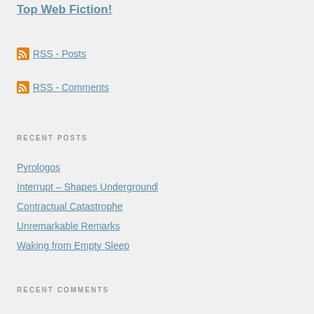Top Web Fiction!
RSS - Posts
RSS - Comments
RECENT POSTS
Pyrologos
Interrupt – Shapes Underground
Contractual Catastrophe
Unremarkable Remarks
Waking from Empty Sleep
RECENT COMMENTS